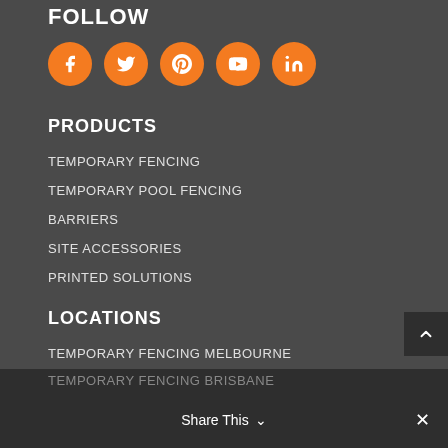FOLLOW
[Figure (infographic): Five orange circle social media icons: Facebook, Twitter, Pinterest, YouTube, LinkedIn]
PRODUCTS
TEMPORARY FENCING
TEMPORARY POOL FENCING
BARRIERS
SITE ACCESSORIES
PRINTED SOLUTIONS
LOCATIONS
TEMPORARY FENCING MELBOURNE
TEMPORARY FENCING PERTH
TEMPORARY FENCING SYDNEY
TEMPORARY FENCING BRISBANE
Share This